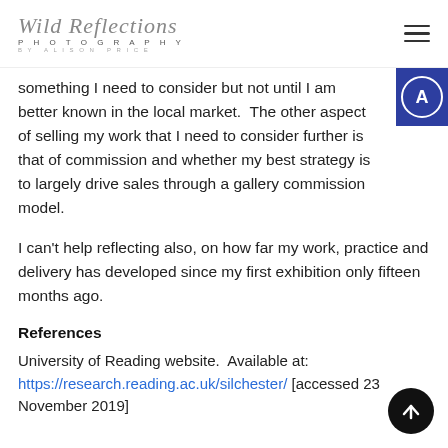Wild Reflections Photography by Alison Price
something I need to consider but not until I am better known in the local market.  The other aspect of selling my work that I need to consider further is that of commission and whether my best strategy is to largely drive sales through a gallery commission model.
I can't help reflecting also, on how far my work, practice and delivery has developed since my first exhibition only fifteen months ago.
References
University of Reading website.  Available at: https://research.reading.ac.uk/silchester/ [accessed 23 November 2019]